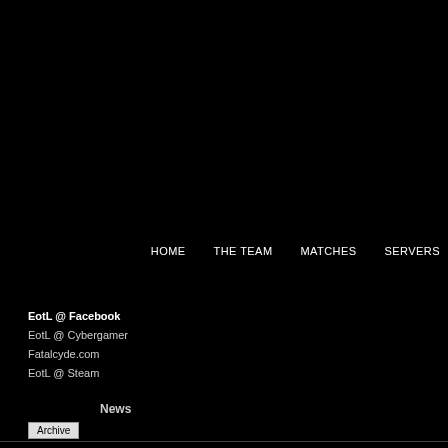HOME   THE TEAM   MATCHES   SERVERS
EotL @ Facebook
EotL @ Cybergamer
Fatalcyde.com
EotL @ Steam
News
Archive